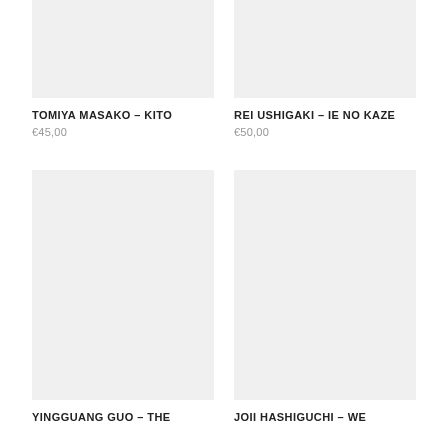[Figure (photo): Product image placeholder for TOMIYA MASAKO – KITO, light gray background]
[Figure (photo): Product image placeholder for REI USHIGAKI – IE NO KAZE, light gray background]
TOMIYA MASAKO – KITO
€45,00
REI USHIGAKI – IE NO KAZE
€50,00
[Figure (photo): Product image placeholder for YINGGUANG GUO – The, light gray background]
[Figure (photo): Product image placeholder for JOII HASHIGUCHI – WE, light gray background]
YINGGUANG GUO – The
JOII HASHIGUCHI – WE